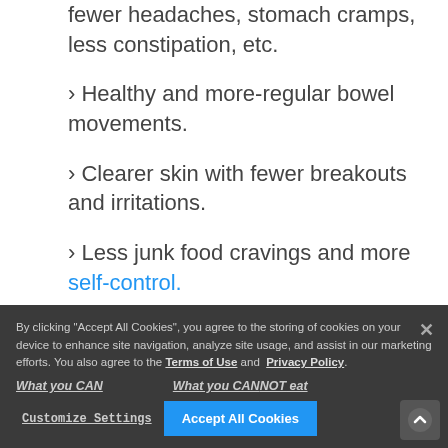fewer headaches, stomach cramps, less constipation, etc.
Healthy and more-regular bowel movements.
Clearer skin with fewer breakouts and irritations.
Less junk food cravings and more self-control.
By clicking “Accept All Cookies”, you agree to the storing of cookies on your device to enhance site navigation, analyze site usage, and assist in our marketing efforts. You also agree to the Terms of Use and Privacy Policy.
What you CAN eat
What you CANNOT eat